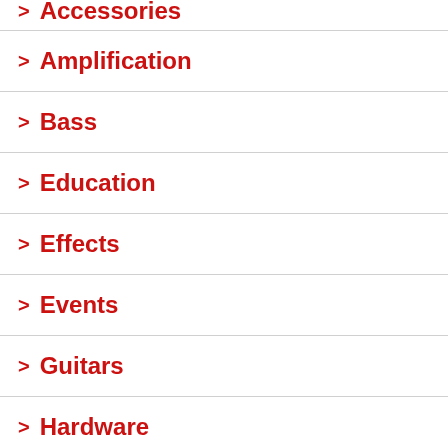Accessories
Amplification
Bass
Education
Effects
Events
Guitars
Hardware
Industry
Marketing